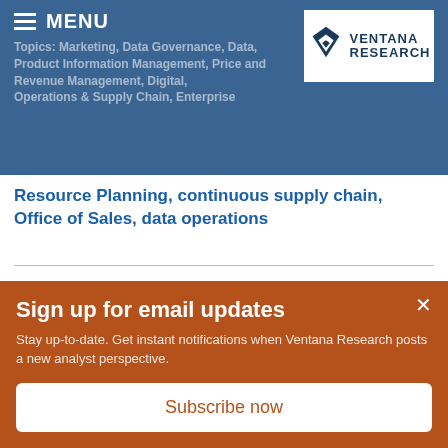MENU
[Figure (logo): Ventana Research logo with stylized V icon and text VENTANA RESEARCH]
Topics: Marketing, Data Governance, Data, Product Information Management, Price and Revenue Management, Digital, Operations & Supply Chain, Enterprise Resource Planning, continuous supply chain, Office of Sales, data operations
ServiceNow Earns Customer Experience
Sign up for email updates
Stay up-to-date. Get instant notifications when Ventana Research posts a new analyst perspective.
Subscribe now